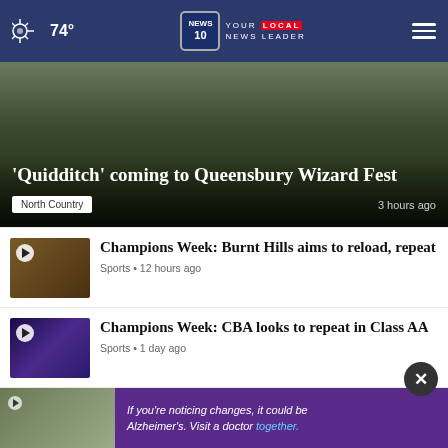74° NEWS10 YOUR LOCAL NEWS LEADER
[Figure (photo): Hero image with dark background, text overlay: 'Quidditch' coming to Queensbury Wizard Fest, North Country tag, 3 hours ago]
'Quidditch' coming to Queensbury Wizard Fest
North Country • 3 hours ago
[Figure (photo): Football thumbnail with play button]
Champions Week: Burnt Hills aims to reload, repeat
Sports • 12 hours ago
[Figure (photo): Sports/basketball thumbnail with play button]
Champions Week: CBA looks to repeat in Class AA
Sports • 1 day ago
[Figure (photo): Horse racing thumbnail with play button]
Epicenter wins 153rd RunHappy Travers Stakes for ...
Local Sports • 3 days ago
[Figure (photo): Advertisement banner: two men walking, purple background, If you're noticing changes, it could be Alzheimer's. Visit a doctor together.]
If you're noticing changes, it could be Alzheimer's. Visit a doctor together.
Local Sports • 3 days ago